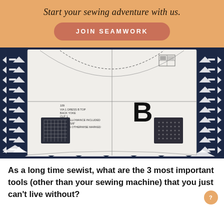Start your sewing adventure with us.
JOIN SEAMWORK
[Figure (photo): Sewing pattern piece labeled 'B' (Back Yoke, Cut 1, Seam Allowance Included, 5/8 of an inch, unless otherwise marked) laid on navy blue and white geometric/tribal print fabric, with two dark fabric swatches placed on the pattern piece.]
As a long time sewist, what are the 3 most important tools (other than your sewing machine) that you just can't live without?